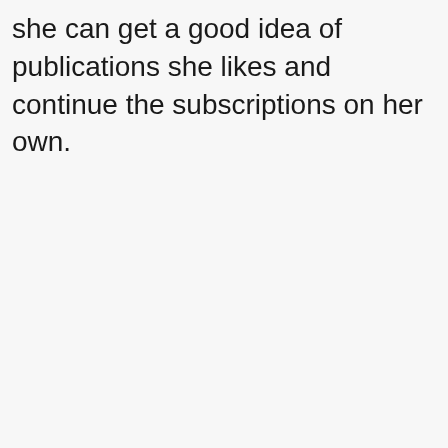she can get a good idea of publications she likes and continue the subscriptions on her own.